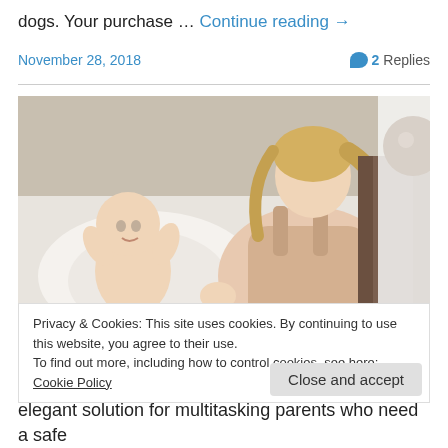dogs. Your purchase … Continue reading →
November 28, 2018   💬 2 Replies
[Figure (photo): A mother leaning over a baby lying in a white ergonomic baby lounger/seat, smiling at the baby in a bright room setting.]
Privacy & Cookies: This site uses cookies. By continuing to use this website, you agree to their use.
To find out more, including how to control cookies, see here: Cookie Policy
Close and accept
elegant solution for multitasking parents who need a safe